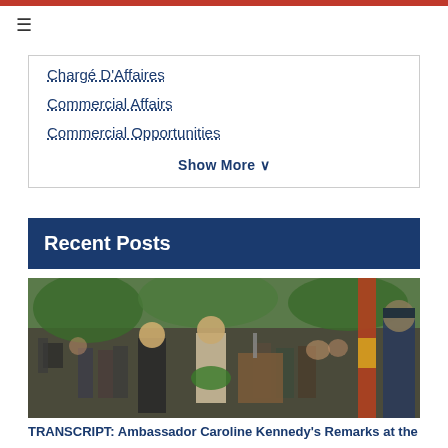Chargé D'Affaires
Commercial Affairs
Commercial Opportunities
Show More V
Recent Posts
[Figure (photo): Outdoor ceremony with officials, including a woman laying a wreath at a podium, surrounded by crowd and military honor guard with red and yellow flag]
TRANSCRIPT: Ambassador Caroline Kennedy's Remarks at the...